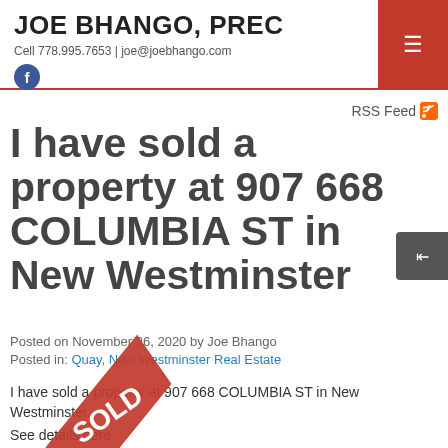JOE BHANGO, PREC
Cell 778.995.7653 | joe@joebhango.com
RSS Feed
I have sold a property at 907 668 COLUMBIA ST in New Westminster
Posted on November 26, 2020 by Joe Bhango
Posted in: Quay, New Westminster Real Estate
I have sold a property at 907 668 COLUMBIA ST in New Westminster.
See details here